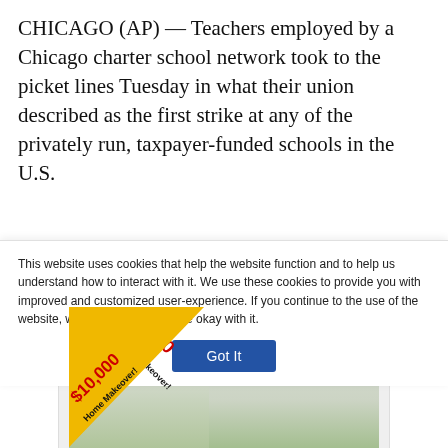CHICAGO (AP) — Teachers employed by a Chicago charter school network took to the picket lines Tuesday in what their union described as the first strike at any of the privately run, taxpayer-funded schools in the U.S.
[Figure (screenshot): Advertisement banner: 'Thanks to our sponsors' with wttw 2022 Great Treasure Hunt Sweepstakes ad featuring a $10,000 Home Makeover yellow ribbon badge over a home interior image]
This website uses cookies that help the website function and to help us understand how to interact with it. We use these cookies to provide you with improved and customized user-experience. If you continue to the use of the website, we assume that you are okay with it.